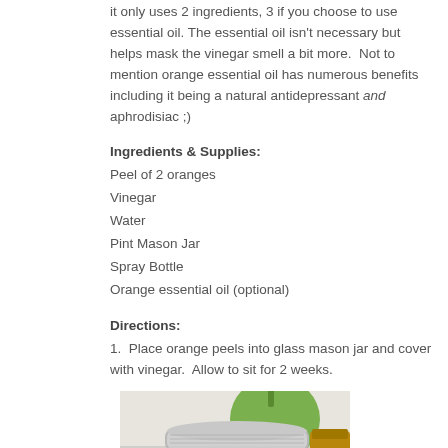it only uses 2 ingredients, 3 if you choose to use essential oil. The essential oil isn't necessary but helps mask the vinegar smell a bit more.  Not to mention orange essential oil has numerous benefits including it being a natural antidepressant and aphrodisiac ;)
Ingredients & Supplies:
Peel of 2 oranges
Vinegar
Water
Pint Mason Jar
Spray Bottle
Orange essential oil (optional)
Directions:
1.  Place orange peels into glass mason jar and cover with vinegar.  Allow to sit for 2 weeks.
[Figure (photo): A glass mason jar with a silver lid containing orange peels soaking in vinegar, with a green apple visible in the background.]